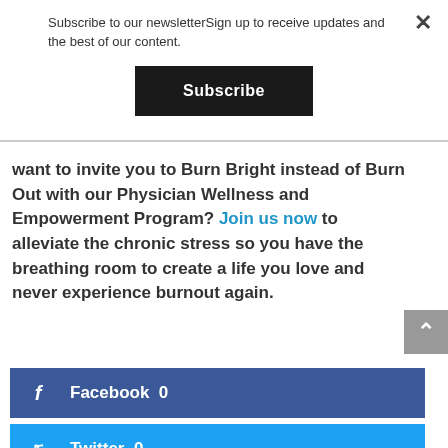Subscribe to our newsletterSign up to receive updates and the best of our content.
Subscribe
want to invite you to Burn Bright instead of Burn Out with our Physician Wellness and Empowerment Program? Join us now to alleviate the chronic stress so you have the breathing room to create a life you love and never experience burnout again.
Facebook  0
Twitter  0
Google+  0